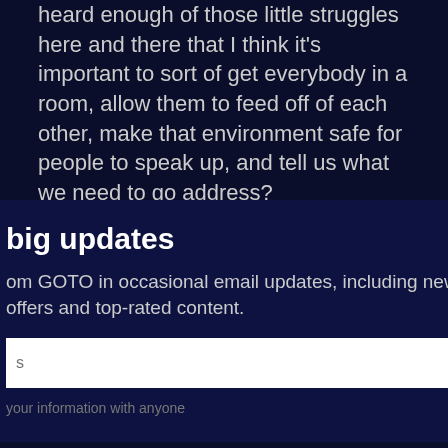heard enough of those little struggles here and there that I think it's important to sort of get everybody in a room, allow them to feed off of each other, make that environment safe for people to speak up, and tell us what we need to go address?
Evan Sutter: I think an important thing is to realize that these things make business better. And once we are aware of those things, then we're probably more likely to [partially obscured] ually
[Figure (other): Email subscription modal overlay with title 'big updates', subtitle text about GOTO email updates, an email input field with submit button, and privacy note. Close button (×) in top-right corner.]
the values of the company you work in?